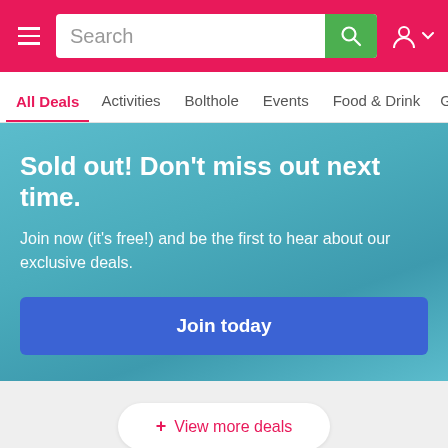Search navigation bar with hamburger menu, search input, search button, and user account icon
All Deals
Activities
Bolthole
Events
Food & Drink
Geta...
Sold out! Don't miss out next time.
Join now (it's free!) and be the first to hear about our exclusive deals.
Join today
+ View more deals
BrewDog Distilling flights & pizza, Ellon
Balmacassie Commercial Park, Ellon, Aberdeenshire, AB41 8BX
SOLD OUT